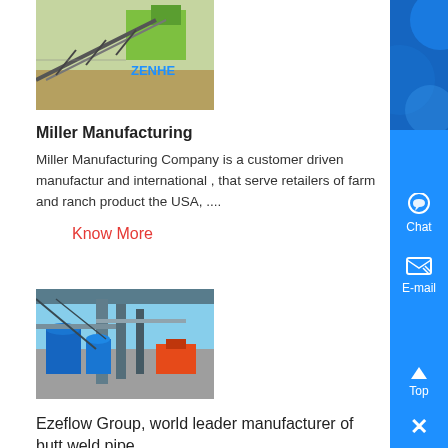[Figure (photo): Industrial conveyor equipment with green structure, ZENITH branding visible]
Miller Manufacturing
Miller Manufacturing Company is a customer driven manufactur and international , that serve retailers of farm and ranch product the USA, ....
Know More
[Figure (photo): Industrial facility with large metal pipes, blue tanks and equipment under open sky]
Ezeflow Group, world leader manufacturer of butt weld pipe ,
Ezeflow Group is a proud manufacturer of butt weld pipe , Ezef